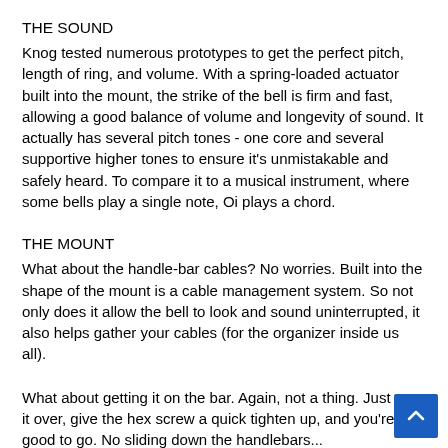THE SOUND
Knog tested numerous prototypes to get the perfect pitch, length of ring, and volume. With a spring-loaded actuator built into the mount, the strike of the bell is firm and fast, allowing a good balance of volume and longevity of sound. It actually has several pitch tones - one core and several supportive higher tones to ensure it's unmistakable and safely heard. To compare it to a musical instrument, where some bells play a single note, Oi plays a chord.
THE MOUNT
What about the handle-bar cables? No worries. Built into the shape of the mount is a cable management system. So not only does it allow the bell to look and sound uninterrupted, it also helps gather your cables (for the organizer inside us all).
What about getting it on the bar. Again, not a thing. Just pop it over, give the hex screw a quick tighten up, and you're good to go. No sliding down the handlebars...